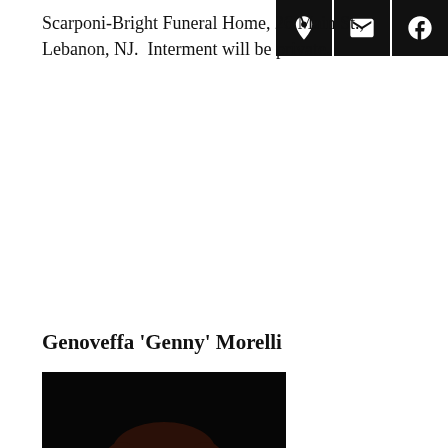Scarponi-Bright Funeral Home, 26 Main St., Lebanon, NJ.  Interment will be private.
Genoveffa 'Genny' Morelli
[Figure (photo): Portrait photo of Genoveffa 'Genny' Morelli, an elderly woman wearing a red top and pearl necklace, with short dark hair, against a dark background.]
Genoveffa ‘Genny’ Morelli, age 94, of Clinton Twp